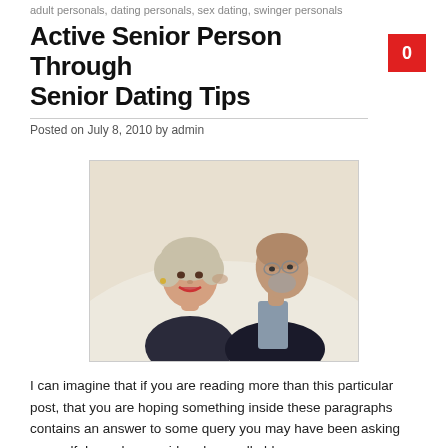adult personals, dating personals, sex dating, swinger personals
Active Senior Person Through Senior Dating Tips
Posted on July 8, 2010 by admin
[Figure (photo): An elderly couple, a woman smiling at the camera while an older man with glasses and a beard leans in to kiss her cheek]
I can imagine that if you are reading more than this particular post, that you are hoping something inside these paragraphs contains an answer to some query you may have been asking yourself. I may be considered a small older,…